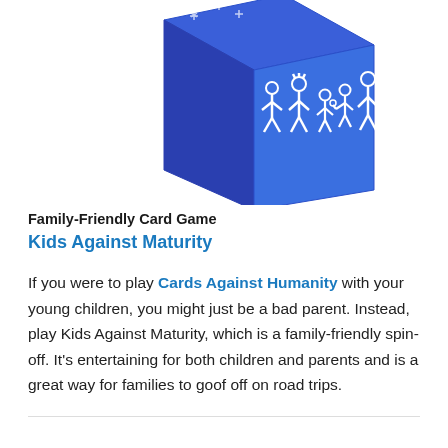[Figure (photo): A blue cube-shaped card game box for Kids Against Maturity, decorated with white stick figure drawings of a family.]
Family-Friendly Card Game
Kids Against Maturity
If you were to play Cards Against Humanity with your young children, you might just be a bad parent. Instead, play Kids Against Maturity, which is a family-friendly spin-off. It's entertaining for both children and parents and is a great way for families to goof off on road trips.